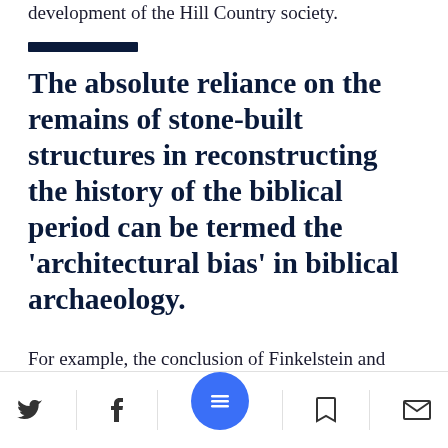development of the Hill Country society.
The absolute reliance on the remains of stone-built structures in reconstructing the history of the biblical period can be termed the 'architectural bias' in biblical archaeology.
For example, the conclusion of Finkelstein and Prof. Benjamin Sass that the appearance of writing in Judah occurred relatively late, relies principally on a comparison of the quantity of the written remains...in this region and
Social share and navigation icons: Twitter, Facebook, Menu, Bookmark, Email